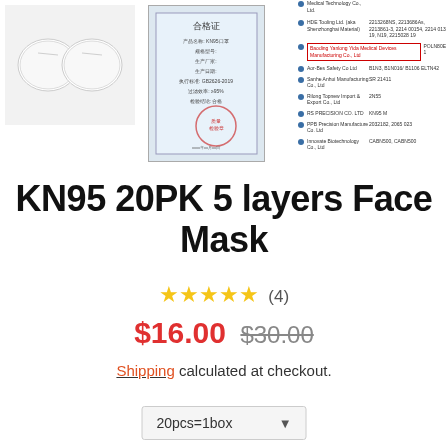[Figure (photo): Two white KN95 face masks (circular/cup-shaped) on white background]
[Figure (photo): Chinese product certificate/quality inspection document with red official stamp]
[Figure (table-as-image): Side panel list of manufacturers with product codes, one highlighted in red border]
KN95 20PK 5 layers Face Mask
★★★★★ (4)
$16.00  $30.00
Shipping calculated at checkout.
20pcs=1box ▼